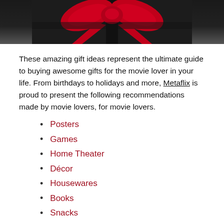[Figure (photo): Dark background with a red ribbon bow on a black gift, partial view at top of page]
These amazing gift ideas represent the ultimate guide to buying awesome gifts for the movie lover in your life. From birthdays to holidays and more, Metaflix is proud to present the following recommendations made by movie lovers, for movie lovers.
Posters
Games
Home Theater
Décor
Housewares
Books
Snacks
Apparel